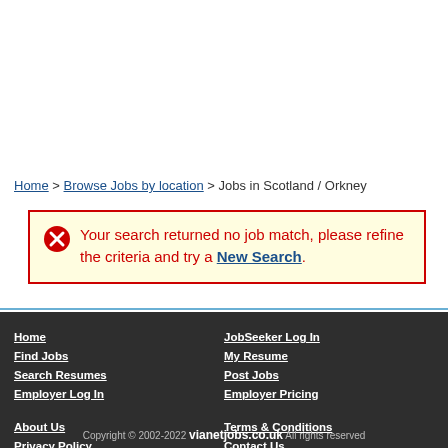Home > Browse Jobs by location > Jobs in Scotland / Orkney
Your search returned no job match, please refine the criteria and try a New Search.
Home | Find Jobs | Search Resumes | Employer Log In | JobSeeker Log In | My Resume | Post Jobs | Employer Pricing | About Us | Privacy Policy | FAQ | Terms & Conditions | Contact Us | SitMap | Copyright © 2002-2022 vianetjobs.co.uk All rights reserved